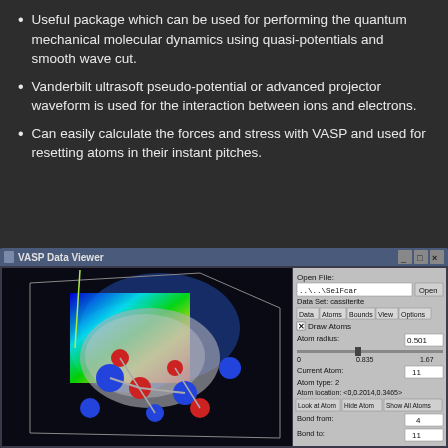Useful package which can be used for performing the quantum mechanical molecular dynamics using quasi-potentials and smooth wave cut.
Vanderbilt ultrasoft pseudo-potential or advanced projector waveform is used for the interaction between ions and electrons.
Can easily calculate the forces and stress with VASP and used for resetting atoms in their instant pitches.
[Figure (screenshot): VASP Data Viewer application screenshot showing a 3D molecular visualization with blue and red atoms on a colorful charge density map, alongside a control panel with options for Draw Atoms, Atom radius: 0.501, Current Atom: 11, Atom type: 2, Atom location: <0,0.2014,0.3465>, Look at Atom, Hide Atom, Show All Atoms buttons, Bond from: 4, Bond to: 11]